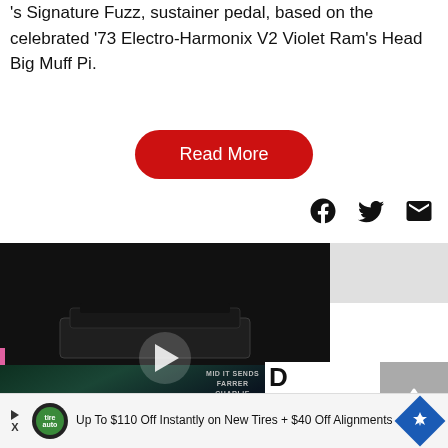's Signature Fuzz, sustainer pedal, based on the celebrated '73 Electro-Harmonix V2 Violet Ram's Head Big Muff Pi.
[Figure (screenshot): Red rounded-rectangle Read More button]
[Figure (screenshot): Social sharing icons: Facebook, Twitter, Email]
[Figure (photo): Video player with black background showing a guitar pedal and a play button overlay]
[Figure (photo): Magazine cover photo showing a person in a teal jacket, with text overlay: MID IT SENDS FARRER CHARLIE MUSSELWHITE]
LATEST ISSUE NOW!
[Figure (screenshot): Gray scroll-to-top button with upward arrow]
[Figure (screenshot): Advertisement banner: Up To $110 Off Instantly on New Tires + $40 Off Alignments]